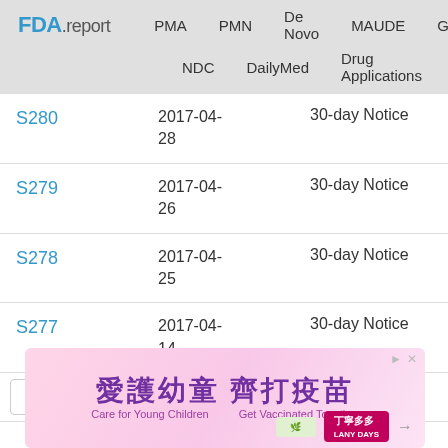FDA.report  PMA  PMN  De Novo  MAUDE  GUDID  NDC  DailyMed  Drug Applications
| Code | Date | Type |
| --- | --- | --- |
| S280 | 2017-04-28 | 30-day Notice |
| S279 | 2017-04-26 | 30-day Notice |
| S278 | 2017-04-25 | 30-day Notice |
| S277 | 2017-04-14 | 30-day Notice |
|  | 2017-04- | 30-day Notice |
[Figure (other): Advertisement banner: 愛護幼童 齊打疫苗 (Care for Young Children, Get Vaccinated Together) - vaccination promotion ad with pink background]